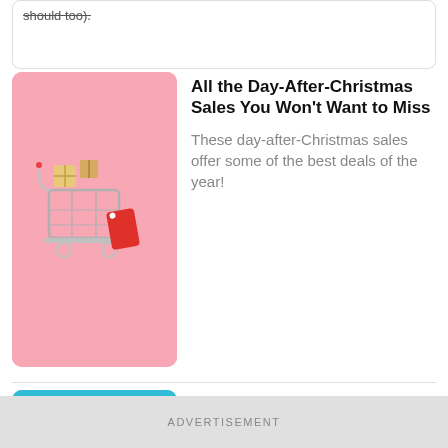should too).
[Figure (photo): Mini shopping cart with wrapped gift boxes and a red price tag on a pink background]
All the Day-After-Christmas Sales You Won't Want to Miss
These day-after-Christmas sales offer some of the best deals of the year!
[Figure (photo): Dark red maroon sweater/top on a teal/cyan background]
Everything Worth Buying This Week: From Tech Gloves to Work Tops
The best sales this week include savings on holiday decor, cozy gloves, and
ADVERTISEMENT